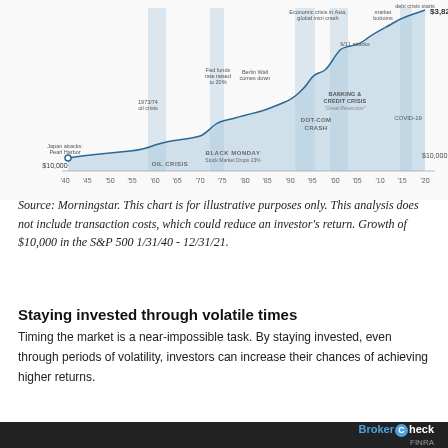[Figure (continuous-plot): Line chart showing growth of $10,000 in the S&P 500 from 1/31/40 to 12/31/21, ending at $3,825,185. Annotated with major historical events: Japan attacks Pearl Harbor, 1973/74 oil crisis, Fed funds rate raised to 20%, Berlin Wall comes down, Black Monday Stock Market drops 23%, Economic crisis in Asia global mini crash, 9/11 attacks, market bottoms, Dot-com Crash, Banking & Credit Crisis 'Great Recession', debt crisis starts, COVID-19. Starting value labeled $10,000, ending value $3,825,185. Shaded vertical bands highlight crisis periods (Oil Crisis, Black Monday, Dot-com Crash, Banking & Credit Crisis, COVID-19). X-axis: years from '40 to '20.]
Source: Morningstar. This chart is for illustrative purposes only. This analysis does not include transaction costs, which could reduce an investor's return. Growth of $10,000 in the S&P 500 1/31/40 - 12/31/21.
Staying invested through volatile times
Timing the market is a near-impossible task. By staying invested, even through periods of volatility, investors can increase their chances of achieving higher returns.
BrokerCheck FINRA